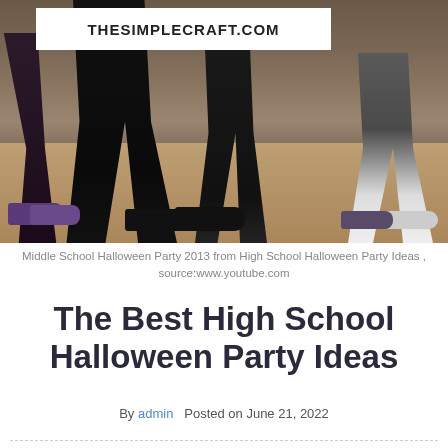[Figure (photo): Photo showing legs and feet of people at a school Halloween party, taken from a low angle. A white banner with 'THESIMPLECRAFT.COM' is overlaid at the top of the image. People are wearing dark clothing and sneakers, standing on a wooden floor.]
Middle School Halloween Party 2013 from High School Halloween Party Ideas , source:www.youtube.com
The Best High School Halloween Party Ideas
By admin   Posted on June 21, 2022